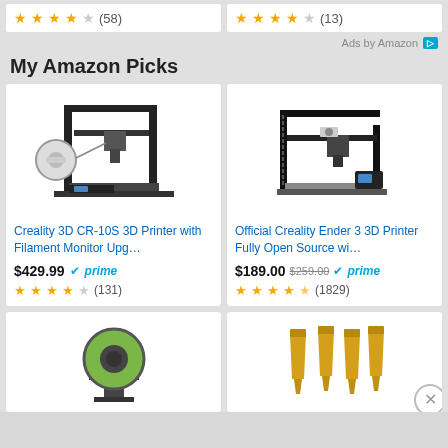[Figure (screenshot): Two product rating cards at top, each showing star ratings and review counts: left card (58 reviews, ~3.5 stars), right card (13 reviews, ~3.5 stars)]
Ads by Amazon
My Amazon Picks
[Figure (photo): Creality 3D CR-10S 3D Printer product image]
Creality 3D CR-10S 3D Printer with Filament Monitor Upg…
$429.99 prime
[Figure (photo): Official Creality Ender 3 3D Printer product image]
Official Creality Ender 3 3D Printer Fully Open Source wi…
$189.00 $259.00 prime
[Figure (photo): Bottom left product image showing filament spool on stand]
[Figure (photo): Bottom right product image showing brass nozzle tips]